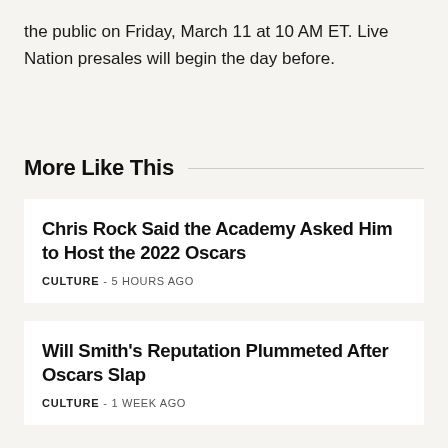the public on Friday, March 11 at 10 AM ET. Live Nation presales will begin the day before.
More Like This
Chris Rock Said the Academy Asked Him to Host the 2022 Oscars
CULTURE - 5 HOURS AGO
Will Smith's Reputation Plummeted After Oscars Slap
CULTURE - 1 WEEK AGO